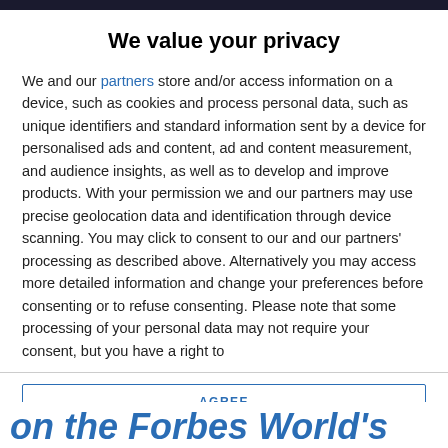We value your privacy
We and our partners store and/or access information on a device, such as cookies and process personal data, such as unique identifiers and standard information sent by a device for personalised ads and content, ad and content measurement, and audience insights, as well as to develop and improve products. With your permission we and our partners may use precise geolocation data and identification through device scanning. You may click to consent to our and our partners' processing as described above. Alternatively you may access more detailed information and change your preferences before consenting or to refuse consenting. Please note that some processing of your personal data may not require your consent, but you have a right to
AGREE
MORE OPTIONS
on the Forbes World's